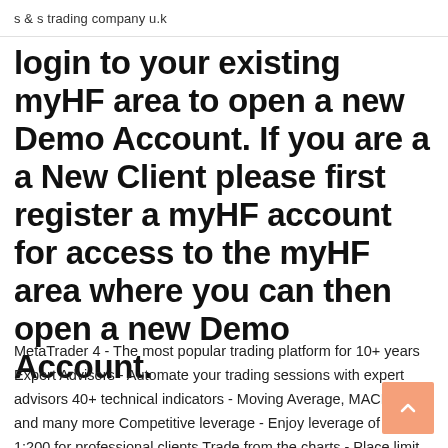s & s trading company u.k
login to your existing myHF area to open a new Demo Account. If you are a a New Client please first register a myHF account for access to the myHF area where you can then open a new Demo Account.
MetaTrader 4 - The most popular trading platform for 10+ years Expert Advisors - Automate your trading sessions with expert advisors 40+ technical indicators - Moving Average, MACD, RSI and many more Competitive leverage - Enjoy leverage of up to 1:200 for professional clients Trade from the charts - Place limit, stop and other orders directly from the price charts Download MetaTrader 4 for PC, iPhone, iPad and Android Download MetaTrader 5 — next generation trading platform. Download MetaTrader 4 for PC to receive the most powerful and